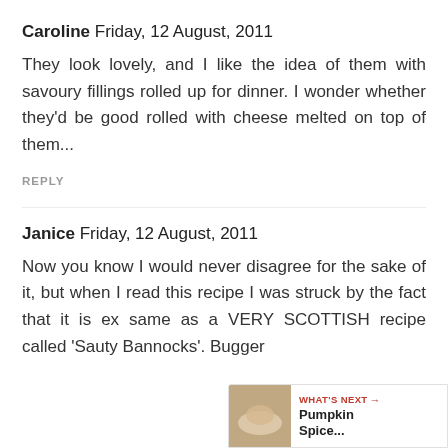Caroline Friday, 12 August, 2011
They look lovely, and I like the idea of them with savoury fillings rolled up for dinner. I wonder whether they'd be good rolled with cheese melted on top of them...
REPLY
Janice Friday, 12 August, 2011
Now you know I would never disagree for the sake of it, but when I read this recipe I was struck by the fact that it is ex same as a VERY SCOTTISH recipe called 'Sauty Bannocks'. Bugger
[Figure (screenshot): Floating UI overlay with heart/like button (red circle with heart icon, count 29), share button, and 'What's Next' promo strip showing 'Pumpkin Spice...' with a food thumbnail image.]